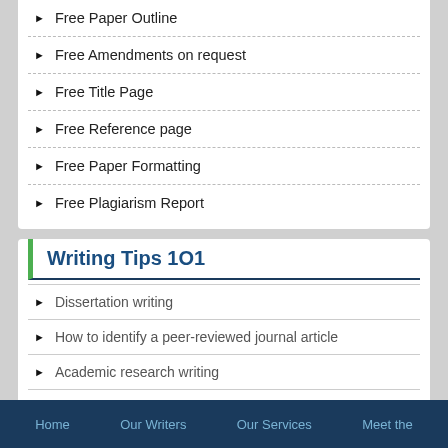Free Paper Outline
Free Amendments on request
Free Title Page
Free Reference page
Free Paper Formatting
Free Plagiarism Report
Writing Tips 1O1
Dissertation writing
How to identify a peer-reviewed journal article
Academic research writing
Research proposal writing
Avoiding Plagiarism
Home    Our Writers    Our Services    Meet the